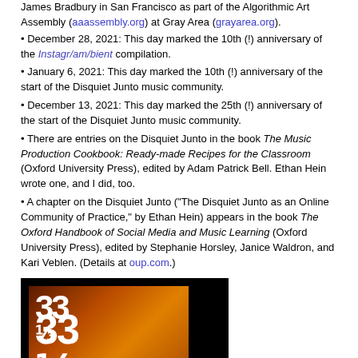James Bradbury in San Francisco as part of the Algorithmic Art Assembly (aaassembly.org) at Gray Area (grayarea.org).
December 28, 2021: This day marked the 10th (!) anniversary of the Instagr/am/bient compilation.
January 6, 2021: This day marked the 10th (!) anniversary of the start of the Disquiet Junto music community.
December 13, 2021: This day marked the 25th (!) anniversary of the start of the Disquiet Junto music community.
There are entries on the Disquiet Junto in the book The Music Production Cookbook: Ready-made Recipes for the Classroom (Oxford University Press), edited by Adam Patrick Bell. Ethan Hein wrote one, and I did, too.
A chapter on the Disquiet Junto ("The Disquiet Junto as an Online Community of Practice," by Ethan Hein) appears in the book The Oxford Handbook of Social Media and Music Learning (Oxford University Press), edited by Stephanie Horsley, Janice Waldron, and Kari Veblen. (Details at oup.com.)
[Figure (photo): Book cover image showing '33 1/3' series logo on a dark background with an orange/golden book cover]